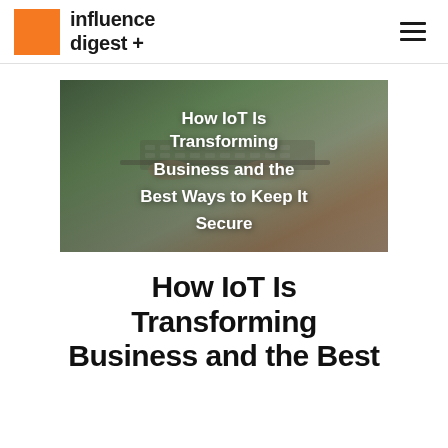influence digest +
[Figure (illustration): Hero image of a person typing on a laptop keyboard, with a blurred background. White bold text overlay reads: How IoT Is Transforming Business and the Best Ways to Keep It Secure]
How IoT Is Transforming Business and the Best